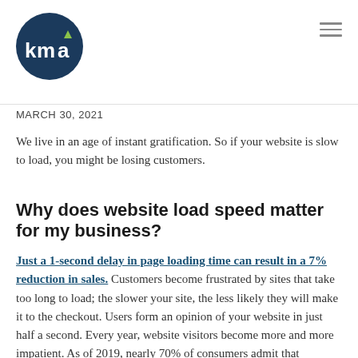[Figure (logo): KMA logo — dark navy circle with white lowercase 'kma' text and a small yellow/green upward arrow above the 'a']
MARCH 30, 2021
We live in an age of instant gratification. So if your website is slow to load, you might be losing customers.
Why does website load speed matter for my business?
Just a 1-second delay in page loading time can result in a 7% reduction in sales. Customers become frustrated by sites that take too long to load; the slower your site, the less likely they will make it to the checkout. Users form an opinion of your website in just half a second. Every year, website visitors become more and more impatient. As of 2019, nearly 70% of consumers admit that